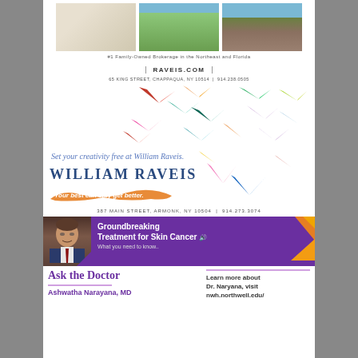[Figure (photo): Three property photos side by side: interior living room, yard with trees, house exterior]
#1 Family-Owned Brokerage in the Northeast and Florida
RAVEIS.COM
65 KING STREET, CHAPPAQUA, NY 10514 | 914.238.0505
[Figure (illustration): Colorful origami paper butterflies and cranes scattered on white background]
Set your creativity free at William Raveis.
WILLIAM RAVEIS
Your best can only get better.
387 MAIN STREET, ARMONK, NY 10504 | 914.273.3074
[Figure (photo): Purple banner with doctor photo, text about Groundbreaking Treatment for Skin Cancer, and orange geometric shapes]
Groundbreaking Treatment for Skin Cancer
What you need to know..
Ask the Doctor
Ashwatha Narayana, MD
Learn more about Dr. Naryana, visit nwh.northwell.edu/